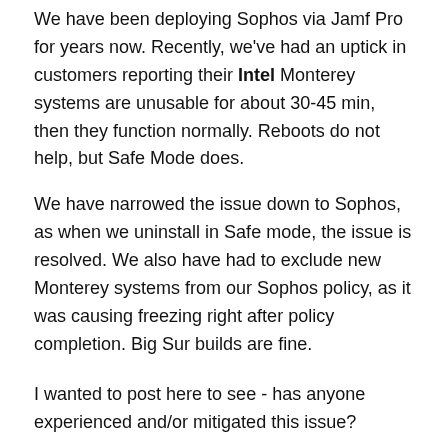We have been deploying Sophos via Jamf Pro for years now. Recently, we've had an uptick in customers reporting their Intel Monterey systems are unusable for about 30-45 min, then they function normally. Reboots do not help, but Safe Mode does.
We have narrowed the issue down to Sophos, as when we uninstall in Safe mode, the issue is resolved. We also have had to exclude new Monterey systems from our Sophos policy, as it was causing freezing right after policy completion. Big Sur builds are fine.
I wanted to post here to see - has anyone experienced and/or mitigated this issue?
We have been deploying a config profile for some time now with the System Extension PPPC requirements, but we...